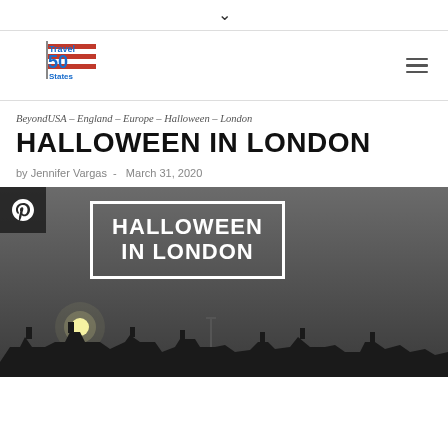▾
[Figure (logo): Travel 50 States logo with American flag design]
BeyondUSA – England – Europe – Halloween – London
HALLOWEEN IN LONDON
by Jennifer Vargas  -  March 31, 2020
[Figure (photo): Halloween in London hero image with a night sky, moon, rooftops silhouette, and a white-text sign reading HALLOWEEN IN LONDON with a Pinterest overlay icon]